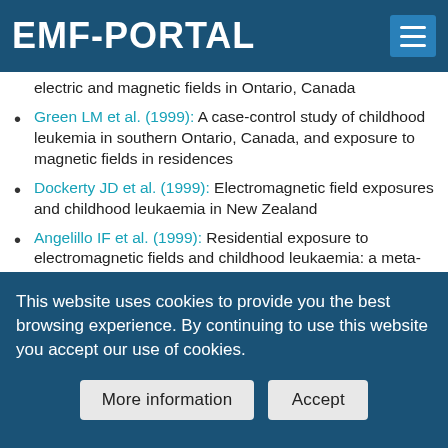EMF-PORTAL
Green LM et al. (1999): A case-control study of childhood leukemia in southern Ontario, Canada, and exposure to magnetic fields in residences
Dockerty JD et al. (1999): Electromagnetic field exposures and childhood leukaemia in New Zealand
Angelillo IF et al. (1999): Residential exposure to electromagnetic fields and childhood leukaemia: a meta-analysis
UK Childhood Cancer Study Investigators (1999):
This website uses cookies to provide you the best browsing experience. By continuing to use this website you accept our use of cookies.
More information | Accept